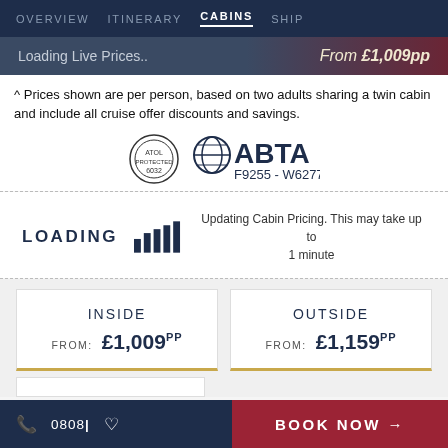OVERVIEW   ITINERARY   CABINS   SHIP
Loading Live Prices..    From £1,009pp
^ Prices shown are per person, based on two adults sharing a twin cabin and include all cruise offer discounts and savings.
[Figure (logo): ATOL Protected logo and ABTA logo with reference F9255 - W6277]
LOADING   Updating Cabin Pricing. This may take up to 1 minute
| INSIDE | OUTSIDE |
| --- | --- |
| FROM: £1,009pp | FROM: £1,159pp |
0808| ♡   BOOK NOW →